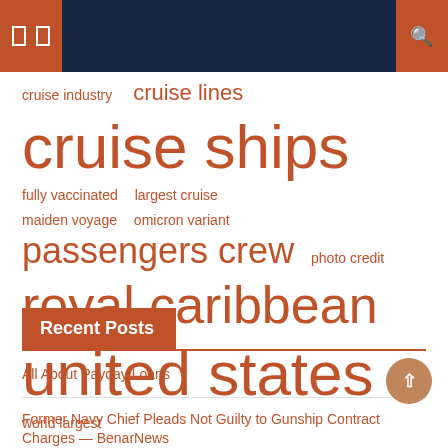Navigation header with menu icons and search
cruise industry  cruise lines  cruise ships  fully vaccinated  largest cruise  maiden voyage  omicron variant  passengers crew  photo credit  royal caribbean  united states  world largest
Recent Posts
All About Payday Loans
Former Navy Chief Pleads Not Guilty to Gunship Contract Charges — BenarNews
P. Tenders Brief Non-reductive and Pertinent ...